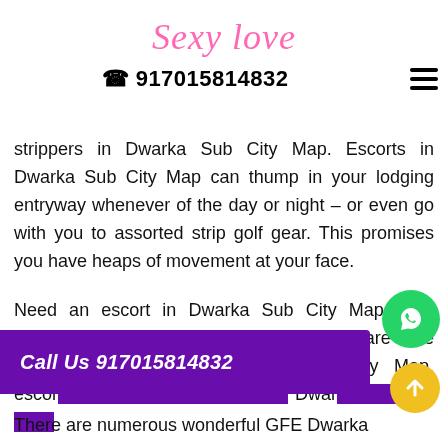Sexy Love
☎ 917015814832
strippers in Dwarka Sub City Map. Escorts in Dwarka Sub City Map can thump in your lodging entryway whenever of the day or night – or even go with you to assorted strip golf gear. This promises you have heaps of movement at your face.
Need an escort in Dwarka Sub City Map or a masseuse this night? Suitable here are the exceptional escorts in Dwarka Sub City Map, escorts in Dwarka Sub City Map, Dwarka...
There are numerous wonderful GFE Dwarka
[Figure (other): Purple call-to-action banner overlaid on page with text 'Call Us 917015814832', green WhatsApp button, and yellow up-arrow button]